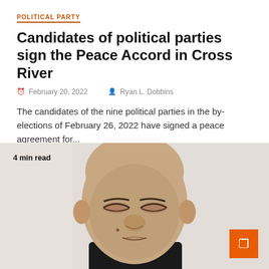POLITICAL PARTY
Candidates of political parties sign the Peace Accord in Cross River
🕐 February 20, 2022   🙍 Ryan L. Dobbins
The candidates of the nine political parties in the by-elections of February 26, 2022 have signed a peace agreement for...
[Figure (photo): Close-up portrait photo of a bald Asian man with a serious expression, wearing a dark collar. Text overlay: '4 min read'. Orange button with bookmark icon in bottom right.]